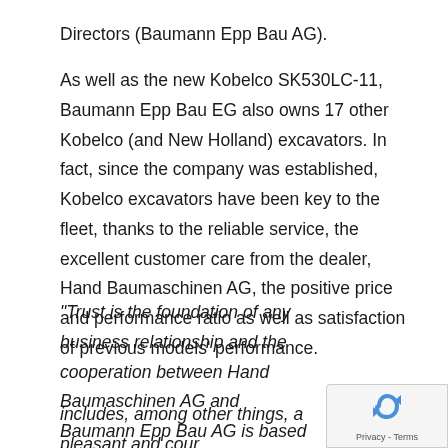Directors (Baumann Epp Bau AG).
As well as the new Kobelco SK530LC-11, Baumann Epp Bau EG also owns 17 other Kobelco (and New Holland) excavators. In fact, since the company was established, Kobelco excavators have been key to the fleet, thanks to the reliable service, the excellent customer care from the dealer, Hand Baumaschinen AG, the positive price and performance ratio as well as satisfaction of previous models' performance.
“Trust is the foundation of any business relationship and the cooperation between Hand Baumaschinen AG and Baumann Epp Bau AG is based on this trust. T… includes, among other things, a pleasant and cour…